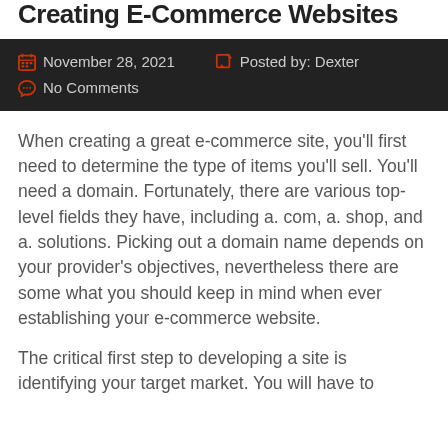Creating E-Commerce Websites
November 28, 2021   Posted by: Dexter   No Comments
When creating a great e-commerce site, you'll first need to determine the type of items you'll sell. You'll need a domain. Fortunately, there are various top-level fields they have, including a. com, a. shop, and a. solutions. Picking out a domain name depends on your provider's objectives, nevertheless there are some what you should keep in mind when ever establishing your e-commerce website.
The critical first step to developing a site is identifying your target market. You will have to